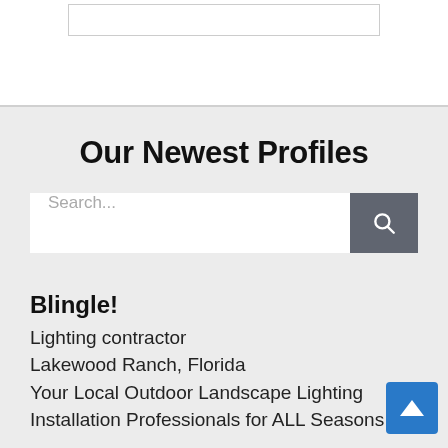Our Newest Profiles
Search...
Blingle!
Lighting contractor
Lakewood Ranch, Florida
Your Local Outdoor Landscape Lighting Installation Professionals for ALL Seasons